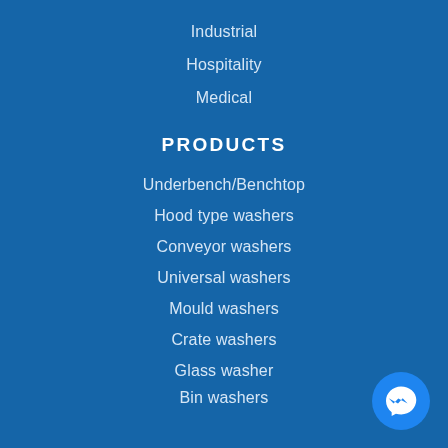Industrial
Hospitality
Medical
PRODUCTS
Underbench/Benchtop
Hood type washers
Conveyor washers
Universal washers
Mould washers
Crate washers
Glass washer
Bin washers
[Figure (logo): Facebook Messenger button icon, circular blue button with white lightning bolt chat icon]